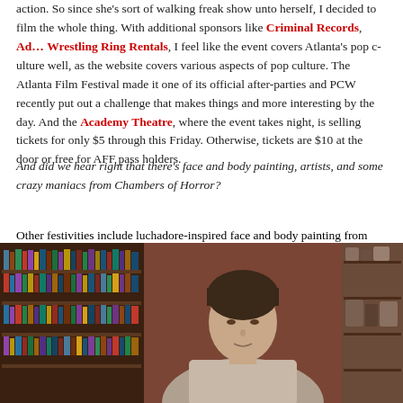action. So since she's sort of walking freak show unto herself, I decided to film the whole thing. With additional sponsors like Criminal Records, Ad… Wrestling Ring Rentals, I feel like the event covers Atlanta's pop culture well, as the website covers various aspects of pop culture. The Atlanta Film Festival made it one of its official after-parties and PCW recently put out a challenge that makes things and more interesting by the day. And the Academy Theatre, where the event takes night, is selling tickets for only $5 through this Friday. Otherwise, tickets are $10 at the door or free for AFF pass holders.
And did we hear right that there's face and body painting, artists, and some crazy maniacs from Chambers of Horror?
Other festivities include luchadore-inspired face and body painting from Adrenaline Fitness; Chocolate F/X; monster artist Dave Coo… made the WPC T-shirts; and lots of other new stuff coming in each day. We're going to have a photo booth there, and local wrestling photographer…
[Figure (photo): A person with short dark hair standing in front of a bookshelf in what appears to be a shop or library with a reddish-brown interior. Bookshelves visible on the left, various items on shelves to the right.]